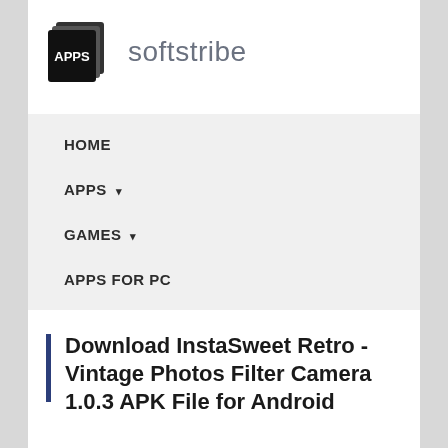[Figure (logo): Softstribe apps logo: stacked overlapping rectangles icon with APPS text in white, followed by 'softstribe' in gray text]
HOME
APPS ▾
GAMES ▾
APPS FOR PC
Download InstaSweet Retro - Vintage Photos Filter Camera 1.0.3 APK File for Android